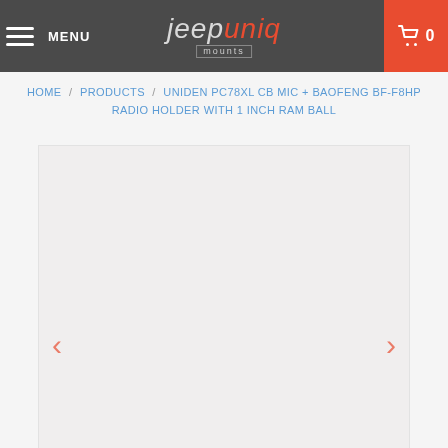MENU | jeepuniq mounts | 0
HOME / PRODUCTS / UNIDEN PC78XL CB MIC + BAOFENG BF-F8HP RADIO HOLDER WITH 1 INCH RAM BALL
[Figure (photo): Product image placeholder area for Uniden PC78XL CB Mic + Baofeng BF-F8HP Radio Holder with 1 inch RAM Ball]
< >